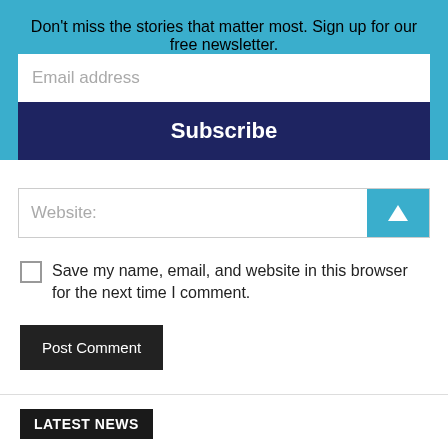Don't miss the stories that matter most. Sign up for our free newsletter.
Email address
Subscribe
Website:
Save my name, email, and website in this browser for the next time I comment.
Post Comment
LATEST NEWS
Senior living project underway at former